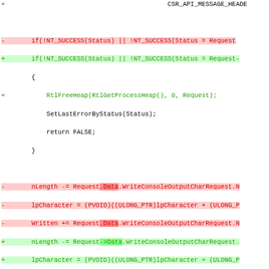[Figure (screenshot): A unified diff / code patch view showing C/C++ source changes with red (removed) and green (added) lines, diff markers (+/-), and hunk headers in magenta. Lines show changes to pointer dereference syntax (Request.Data -> Request->Data) and related code for WriteConsoleOutputCharRequest functions.]